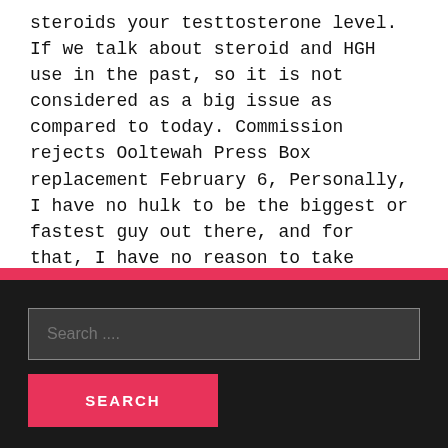steroids your testtosterone level. If we talk about steroid and HGH use in the past, so it is not considered as a big issue as compared to today. Commission rejects Ooltewah Press Box replacement February 6, Personally, I have no hulk to be the biggest or fastest guy out there, and for that, I have no reason to take steroids.
Search ...